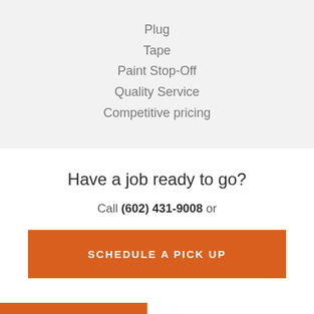Plug
Tape
Paint Stop-Off
Quality Service
Competitive pricing
Have a job ready to go?
Call (602) 431-9008 or
SCHEDULE A PICK UP
GET DIRECTIONS